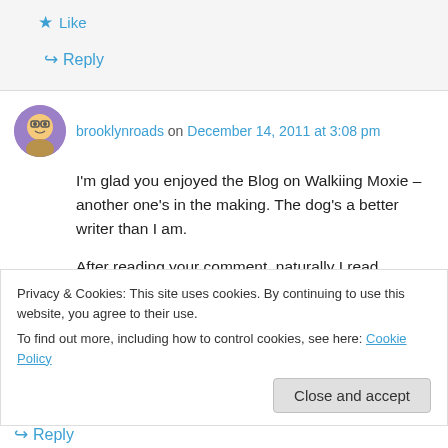Like
Reply
brooklynroads on December 14, 2011 at 3:08 pm
I'm glad you enjoyed the Blog on Walkiing Moxie – another one's in the making. The dog's a better writer than I am.
After reading your comment, naturally I read
Privacy & Cookies: This site uses cookies. By continuing to use this website, you agree to their use.
To find out more, including how to control cookies, see here: Cookie Policy
Close and accept
Reply